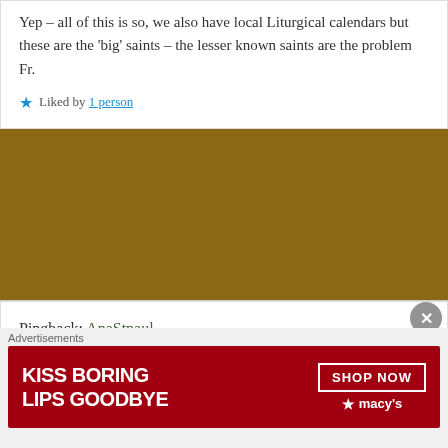Yep – all of this is so, we also have local Liturgical calendars but these are the 'big' saints – the lesser known saints are the problem Fr.
Liked by 1 person
Pingback: AnaStpaul
Pingback: The Octave Day of St Stephen, Nuestra Señora del Pilar / Our Lady of the Pillar (Zaragoza, Spain)(40) and Memorials of the Saints – 2 January – AnaStpaul
[Figure (photo): Macy's advertisement banner: 'KISS BORING LIPS GOODBYE' with a SHOP NOW button and Macy's star logo on a red background]
Advertisements